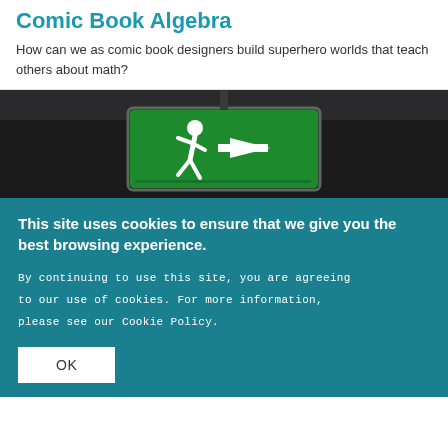Comic Book Algebra
How can we as comic book designers build superhero worlds that teach others about math?
[Figure (photo): A glowing green emergency exit sign with a running figure and right-pointing arrow, against a dark background.]
This site uses cookies to ensure that we give you the best browsing experience.
By continuing to use this site, you are agreeing to our use of cookies. For more information, please see our Cookie Policy.
OK